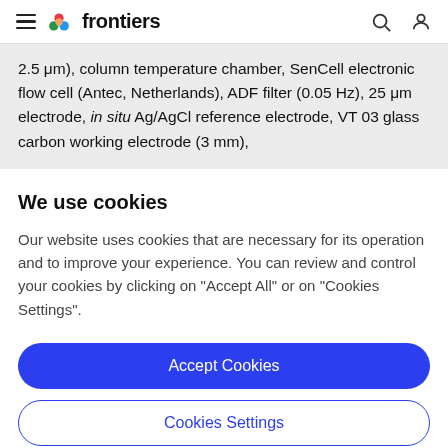frontiers
2.5 μm), column temperature chamber, SenCell electronic flow cell (Antec, Netherlands), ADF filter (0.05 Hz), 25 μm electrode, in situ Ag/AgCl reference electrode, VT 03 glass carbon working electrode (3 mm),
We use cookies
Our website uses cookies that are necessary for its operation and to improve your experience. You can review and control your cookies by clicking on "Accept All" or on "Cookies Settings".
Accept Cookies
Cookies Settings